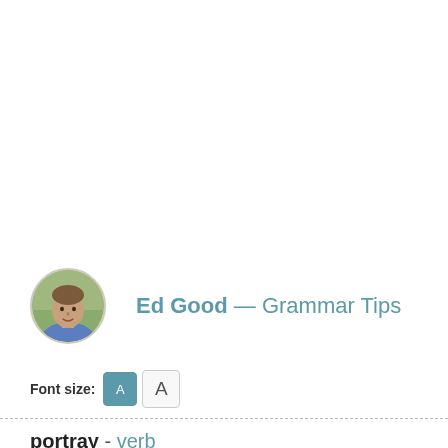[Figure (photo): Circular avatar photo of Ed Good, a man in a blue shirt, with a tan/outdoor background]
Ed Good  —  Grammar Tips
Font size: A A
portray - verb